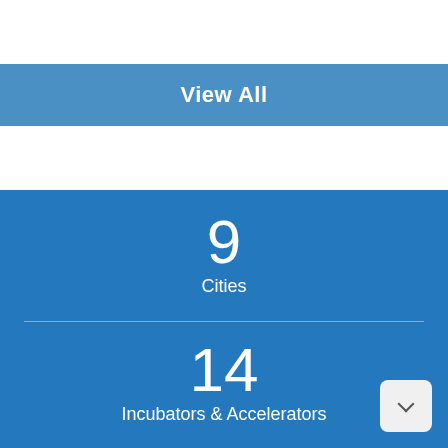View All
9
Cities
14
Incubators & Accelerators
1